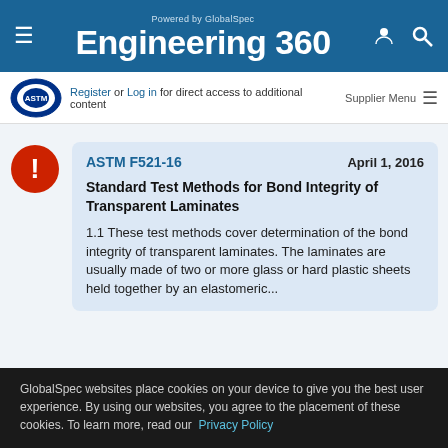Powered by GlobalSpec Engineering 360
Register or Log in for direct access to additional content | Supplier Menu
ASTM F521-16   April 1, 2016
Standard Test Methods for Bond Integrity of Transparent Laminates
1.1 These test methods cover determination of the bond integrity of transparent laminates. The laminates are usually made of two or more glass or hard plastic sheets held together by an elastomeric...
GlobalSpec websites place cookies on your device to give you the best user experience. By using our websites, you agree to the placement of these cookies. To learn more, read our Privacy Policy